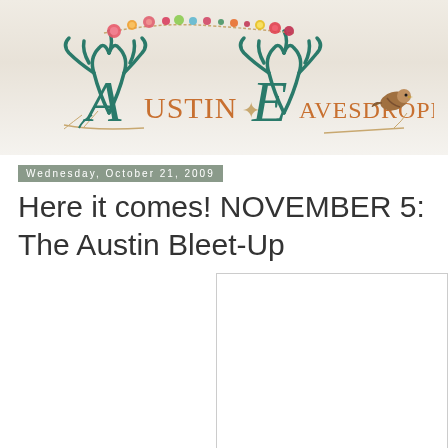[Figure (logo): Austin Eavesdropper blog logo with decorative antlers, floral garland, and a bird. Teal antler-style letters A and E with orange serif text reading 'Austin Eavesdropper'.]
Wednesday, October 21, 2009
Here it comes! NOVEMBER 5: The Austin Bleet-Up
[Figure (photo): A white/blank image placeholder with a thin border]